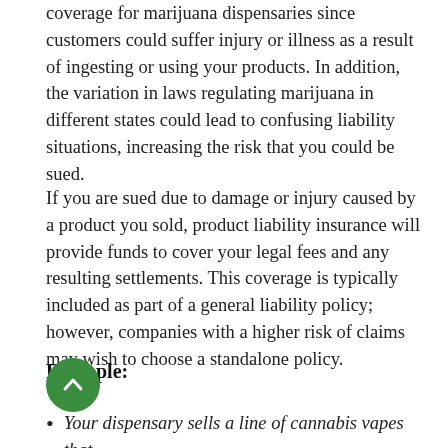coverage for marijuana dispensaries since customers could suffer injury or illness as a result of ingesting or using your products. In addition, the variation in laws regulating marijuana in different states could lead to confusing liability situations, increasing the risk that you could be sued.
If you are sued due to damage or injury caused by a product you sold, product liability insurance will provide funds to cover your legal fees and any resulting settlements. This coverage is typically included as part of a general liability policy; however, companies with a higher risk of claims may wish to choose a standalone policy.
Example:
Your dispensary sells a line of cannabis vapes that